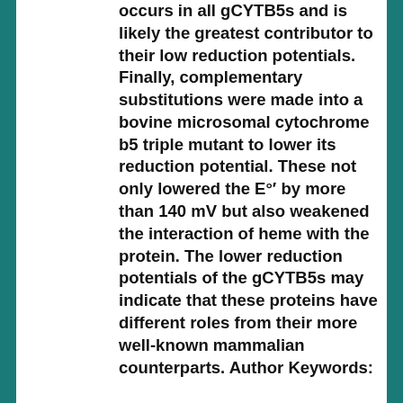occurs in all gCYTB5s and is likely the greatest contributor to their low reduction potentials. Finally, complementary substitutions were made into a bovine microsomal cytochrome b5 triple mutant to lower its reduction potential. These not only lowered the E°′ by more than 140 mV but also weakened the interaction of heme with the protein. The lower reduction potentials of the gCYTB5s may indicate that these proteins have different roles from their more well-known mammalian counterparts. Author Keywords:
Building Individuals, Building the Economy
This thesis explores the neoliberal governmentality approach to education for Northern economic development, arguing that
[Figure (other): Two small thumbnail images of document pages]